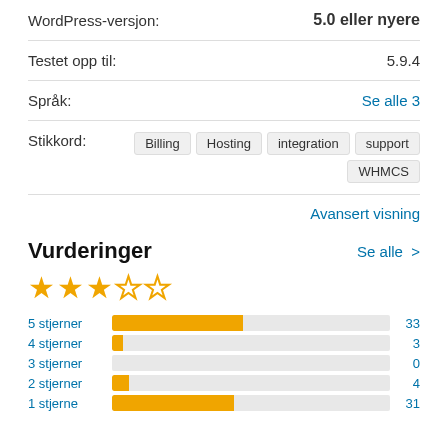| WordPress-versjon: | 5.0 eller nyere |
| Testet opp til: | 5.9.4 |
| Språk: | Se alle 3 |
| Stikkord: | Billing  Hosting  integration  support  WHMCS |
Avansert visning
Vurderinger
[Figure (bar-chart): Vurderinger]